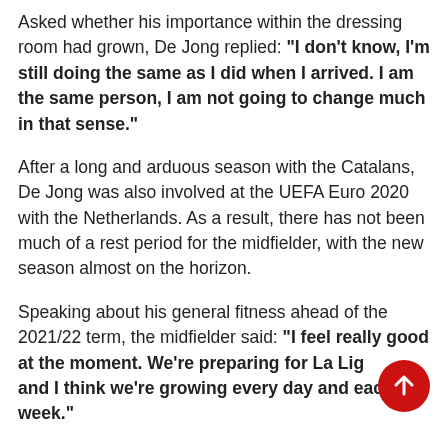Asked whether his importance within the dressing room had grown, De Jong replied: "I don't know, I'm still doing the same as I did when I arrived. I am the same person, I am not going to change much in that sense."
After a long and arduous season with the Catalans, De Jong was also involved at the UEFA Euro 2020 with the Netherlands. As a result, there has not been much of a rest period for the midfielder, with the new season almost on the horizon.
Speaking about his general fitness ahead of the 2021/22 term, the midfielder said: "I feel really good at the moment. We're preparing for La Liga and I think we're growing every day and each week."